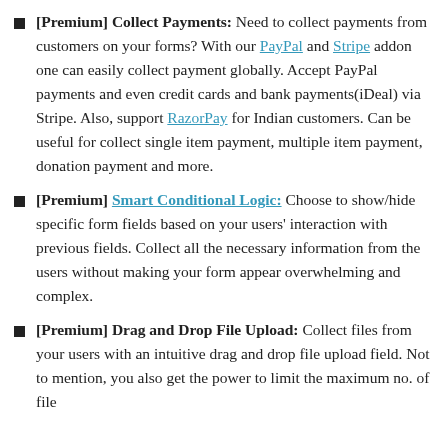[Premium] Collect Payments: Need to collect payments from customers on your forms? With our PayPal and Stripe addon one can easily collect payment globally. Accept PayPal payments and even credit cards and bank payments(iDeal) via Stripe. Also, support RazorPay for Indian customers. Can be useful for collect single item payment, multiple item payment, donation payment and more.
[Premium] Smart Conditional Logic: Choose to show/hide specific form fields based on your users' interaction with previous fields. Collect all the necessary information from the users without making your form appear overwhelming and complex.
[Premium] Drag and Drop File Upload: Collect files from your users with an intuitive drag and drop file upload field. Not to mention, you also get the power to limit the maximum no. of file...